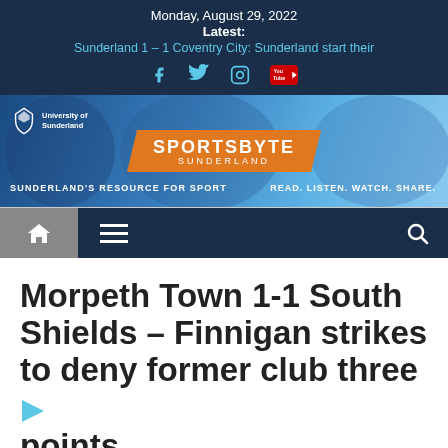Monday, August 29, 2022
Latest:
Sunderland 1 – 1 Coventry City: Sunderland start their
[Figure (logo): Social media icons: Facebook, Twitter, Instagram, YouTube]
[Figure (logo): SportsByte Sunderland banner with University of Sunderland logo. Left text: SUNDERLAND'S RESOURCE FOR SPORT. Center: SPORTSBYTE SUNDERLAND logo. Right: READ. LISTEN. WATCH. SHARE.]
[Figure (screenshot): Navigation bar with home icon, hamburger menu, and search icon]
Morpeth Town 1-1 South Shields – Finnigan strikes to deny former club three points